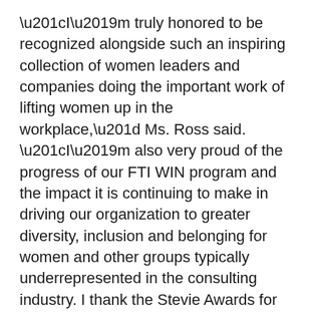“I’m truly honored to be recognized alongside such an inspiring collection of women leaders and companies doing the important work of lifting women up in the workplace,” Ms. Ross said. “I’m also very proud of the progress of our FTI WIN program and the impact it is continuing to make in driving our organization to greater diversity, inclusion and belonging for women and other groups typically underrepresented in the consulting industry. I thank the Stevie Awards for this recognition and extend my congratulations to my FTI Consulting colleagues who have contributed to the FTI WIN program over the years.”
FTI WIN, which was launched in 2013, has provided career training, professional development, mentorship, networking and community outreach opportunities across the globe to empower women at FTI Consulting to reach their highest potential and develop best-in-class leadership capabilities. Since its inception, FTI WIN...